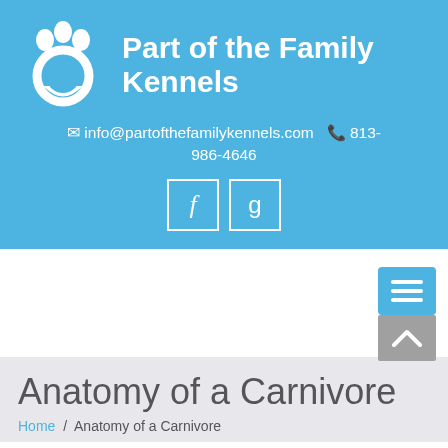[Figure (logo): Part of the Family Kennels logo with white paw print icon and brand name in white bold text on blue background]
info@partofthefamilykennels.com  813-986-4646
[Figure (infographic): Facebook and Google+ social media icon buttons with white borders on blue background]
[Figure (infographic): Blue hamburger menu button and gray scroll-to-top button in top right corner of white navigation area]
Anatomy of a Carnivore
Home / Anatomy of a Carnivore